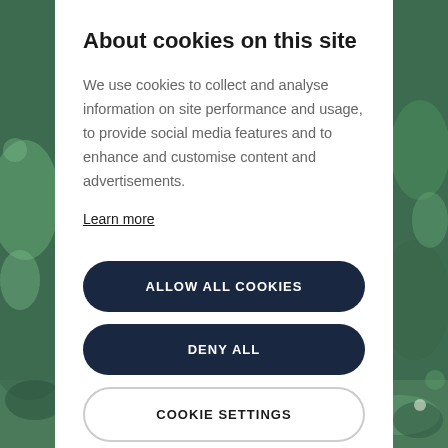[Figure (photo): Background photo of green powder or mineral texture, visible on left and right sides and bottom of image]
About cookies on this site
We use cookies to collect and analyse information on site performance and usage, to provide social media features and to enhance and customise content and advertisements.
Learn more
ALLOW ALL COOKIES
DENY ALL
COOKIE SETTINGS